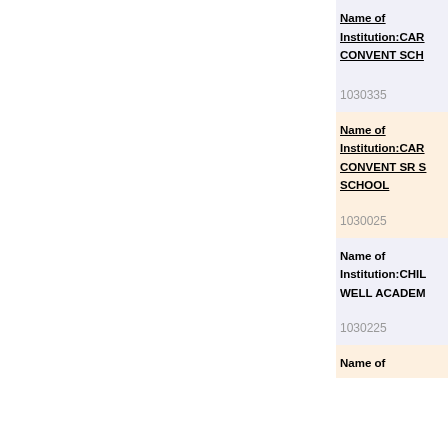Name of Institution:CAR... CONVENT SCH...
1030335
Name of Institution:CAR... CONVENT SR S... SCHOOL
1030025
Name of Institution:CHIL... WELL ACADEM...
1030225
Name of